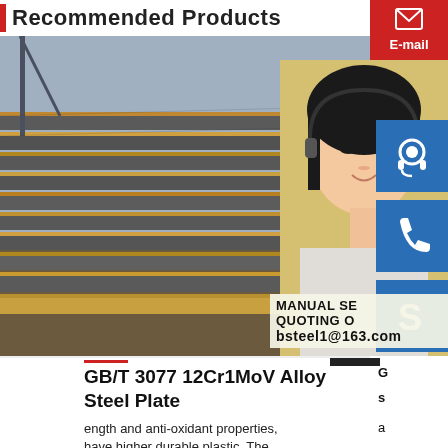Recommended Products
E-mail
[Figure (photo): Stacked steel plates/sheets in an industrial yard or warehouse setting, showing multiple layers of flat steel plates.]
[Figure (photo): Customer service representative - young Asian woman wearing a headset, smiling, in a yellow-toned background.]
[Figure (illustration): Blue square icon with white headset/customer service icon]
[Figure (illustration): Blue square icon with white telephone/call icon]
[Figure (illustration): Blue square icon with white Skype 'S' logo]
MANUAL SE[RVICE]
QUOTING O[NLINE]
bsteel1@163.com
GB/T 3077 12Cr1MoV Alloy Steel Plate
ength and anti-oxidant properties, have higher durable plastic. The.